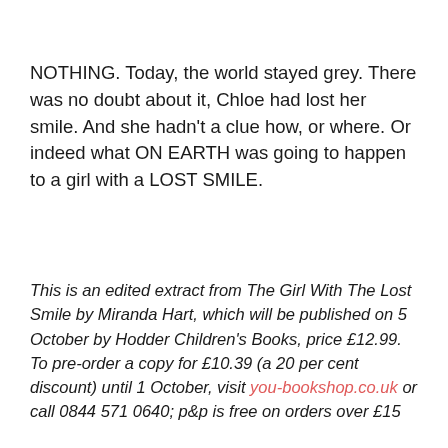NOTHING. Today, the world stayed grey. There was no doubt about it, Chloe had lost her smile. And she hadn't a clue how, or where. Or indeed what ON EARTH was going to happen to a girl with a LOST SMILE.
This is an edited extract from The Girl With The Lost Smile by Miranda Hart, which will be published on 5 October by Hodder Children's Books, price £12.99. To pre-order a copy for £10.39 (a 20 per cent discount) until 1 October, visit you-bookshop.co.uk or call 0844 571 0640; p&p is free on orders over £15